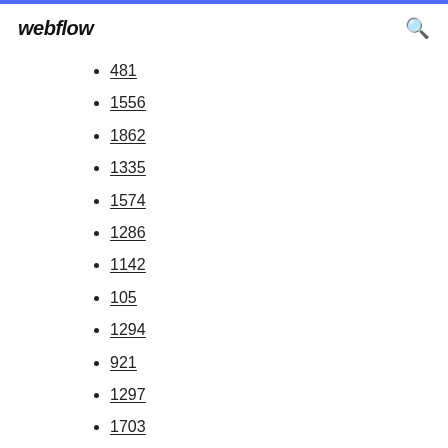webflow
481
1556
1862
1335
1574
1286
1142
105
1294
921
1297
1703